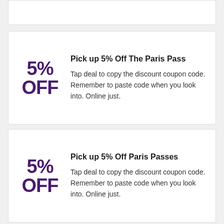5% OFF — Pick up 5% Off The Paris Pass — Tap deal to copy the discount coupon code. Remember to paste code when you look into. Online just.
5% OFF — Pick up 5% Off Paris Passes — Tap deal to copy the discount coupon code. Remember to paste code when you look into. Online just.